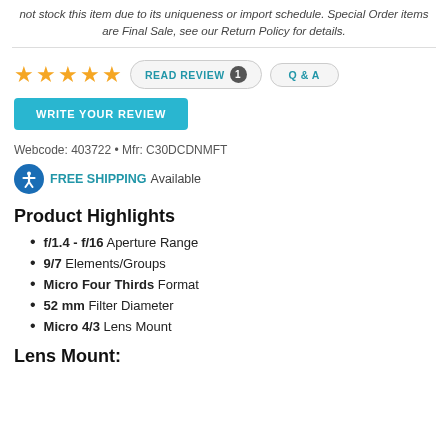not stock this item due to its uniqueness or import schedule. Special Order items are Final Sale, see our Return Policy for details.
★★★★★  READ REVIEW 1  Q & A
WRITE YOUR REVIEW
Webcode: 403722 • Mfr: C30DCDNMFT
FREE SHIPPING Available
Product Highlights
f/1.4 - f/16 Aperture Range
9/7 Elements/Groups
Micro Four Thirds Format
52 mm Filter Diameter
Micro 4/3 Lens Mount
Lens Mount: